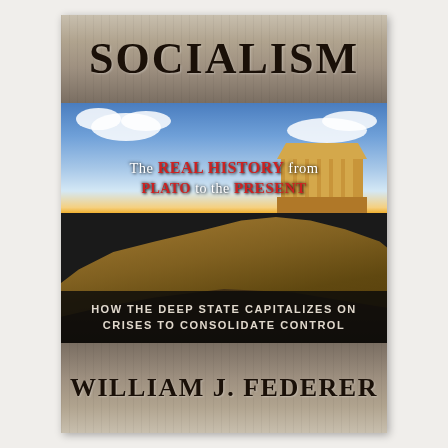[Figure (illustration): Book cover for 'Socialism: The Real History from Plato to the Present — How the Deep State Capitalizes on Crises to Consolidate Control' by William J. Federer. Features stone/marble textured top and bottom bands with the title 'SOCIALISM' and author name 'WILLIAM J. FEDERER'. Center photo shows the Acropolis/Parthenon in Athens with a dramatic sky. Subtitle text overlaid on the photo reads 'The REAL HISTORY from PLATO to the PRESENT'. Bottom dark band reads 'HOW THE DEEP STATE CAPITALIZES ON CRISES TO CONSOLIDATE CONTROL'.]